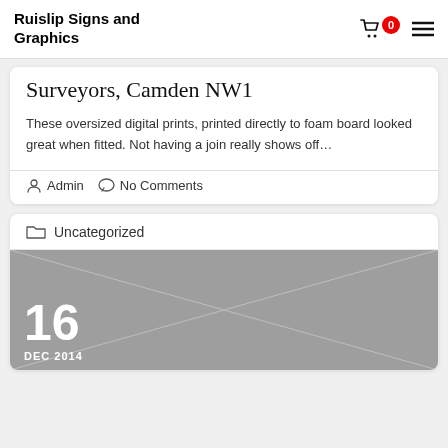Ruislip Signs and Graphics
Surveyors, Camden NW1
These oversized digital prints, printed directly to foam board looked great when fitted. Not having a join really shows off…
Admin   No Comments
Uncategorized
[Figure (other): Grey placeholder image with diagonal lines and date '16 DEC 2014' overlaid in white text]